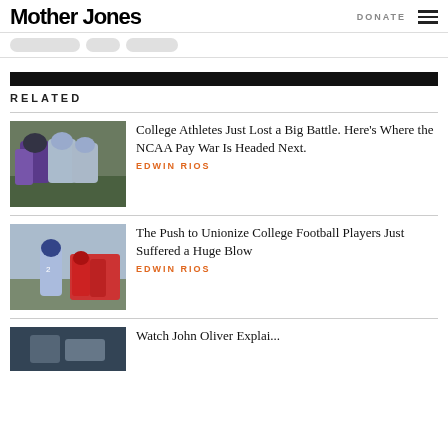Mother Jones
RELATED
[Figure (photo): College football players in a scrimmage, purple and blue uniforms]
College Athletes Just Lost a Big Battle. Here's Where the NCAA Pay War Is Headed Next.
EDWIN RIOS
[Figure (photo): College football player wearing number 2 jersey running on field]
The Push to Unionize College Football Players Just Suffered a Huge Blow
EDWIN RIOS
[Figure (photo): Partially visible third article image]
Watch John Oliver Explai...